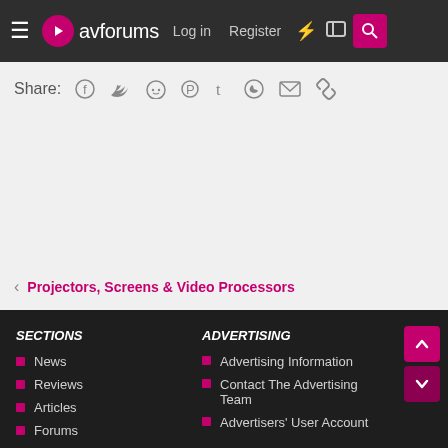avforums — Log in | Register
Share:
< Projectors, Screens & Video Processors
SECTIONS
News
Reviews
Articles
Forums
Sitemap
ADVERTISING
Advertising Information
Contact The Advertising Team
Advertisers' User Account